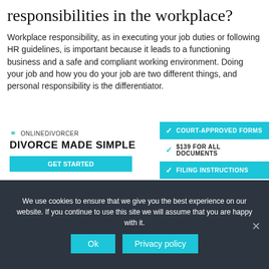responsibilities in the workplace?
Workplace responsibility, as in executing your job duties or following HR guidelines, is important because it leads to a functioning business and a safe and compliant working environment. Doing your job and how you do your job are two different things, and personal responsibility is the differentiator.
[Figure (infographic): Advertisement for OnlineDivorcer showing logo, 'DIVORCE MADE SIMPLE' headline, a cyan call-to-action button, and three feature badges: COURT-APPROVED FORMS, $139 FOR ALL DOCUMENTS, FILING INSTRUCTIONS]
We use cookies to ensure that we give you the best experience on our website. If you continue to use this site we will assume that you are happy with it.
Ok   Privacy policy